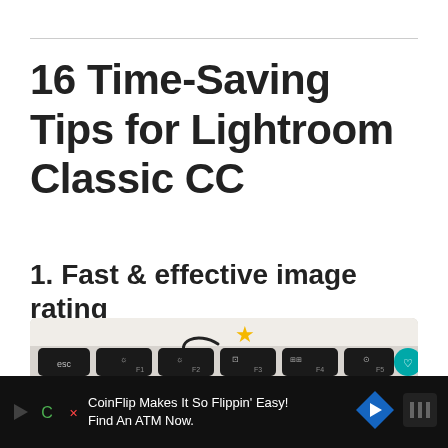16 Time-Saving Tips for Lightroom Classic CC
1. Fast & effective image rating
[Figure (photo): Photo of a Mac keyboard with a yellow star overlaid and a curved arrow pointing to the F1 key area, illustrating keyboard shortcuts for image rating in Lightroom Classic CC]
CoinFlip Makes It So Flippin' Easy! Find An ATM Now.